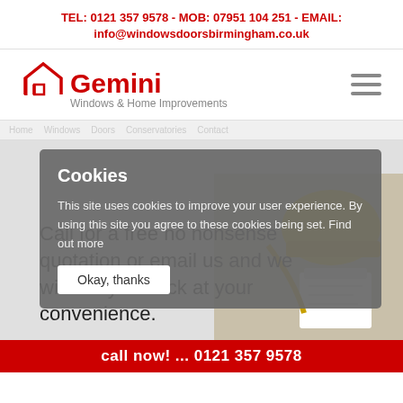TEL: 0121 357 9578 - MOB: 07951 104 251 - EMAIL: info@windowsdoorsbirmingham.co.uk
[Figure (logo): Gemini Windows & Home Improvements logo with red house icon and red text]
[Figure (screenshot): Website screenshot showing cookie consent overlay on Gemini Windows & Home Improvements site. Cookie box reads: Cookies - This site uses cookies to improve your user experience. By using this site you agree to these cookies being set. Find out more. [Okay, thanks button]. Behind overlay: Call for a free no nonsense quotation or email us and we will call you back at your convenience. Bottom red bar: call now! ... 0121 357 9578]
Cookies
This site uses cookies to improve your user experience. By using this site you agree to these cookies being set. Find out more
Call for a free no nonsense quotation or email us and we will call you back at your convenience.
call now! ... 0121 357 9578